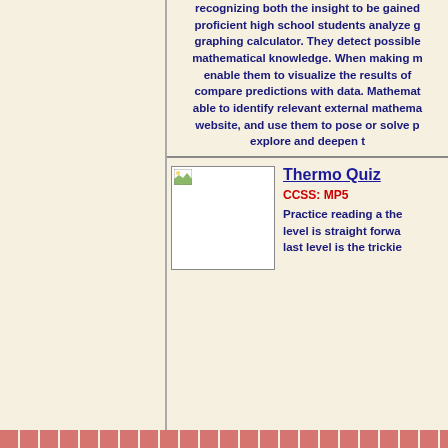recognizing both the insight to be gained proficient high school students analyze g graphing calculator. They detect possible mathematical knowledge. When making m enable them to visualize the results of compare predictions with data. Mathemat able to identify relevant external mathema website, and use them to pose or solve p explore and deepen t
[Figure (photo): Small thumbnail image placeholder with a tiny landscape icon in the top-left corner]
Thermo Quiz
CCSS: MP5
Practice reading a the level is straight forwa last level is the trickie